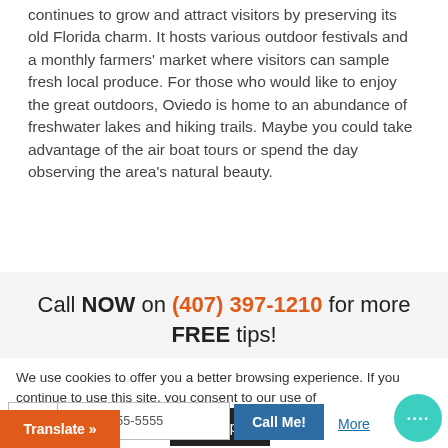continues to grow and attract visitors by preserving its old Florida charm. It hosts various outdoor festivals and a monthly farmers' market where visitors can sample fresh local produce. For those who would like to enjoy the great outdoors, Oviedo is home to an abundance of freshwater lakes and hiking trails. Maybe you could take advantage of the air boat tours or spend the day observing the area's natural beauty.
Call NOW on (407) 397-1210 for more FREE tips!
We use cookies to offer you a better browsing experience. If you continue to use this site, you consent to our use of
More
Accept
Translate »
+1 201-555-5555
Call Me!